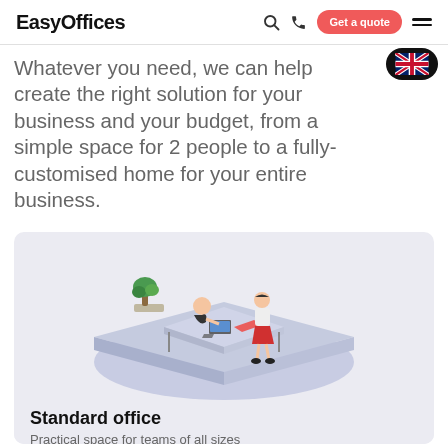EasyOffices
Whatever you need, we can help create the right solution for your business and your budget, from a simple space for 2 people to a fully-customised home for your entire business.
[Figure (illustration): Isometric illustration of two people in a standard office — one seated at a desk with a laptop, one standing — on a blue-toned platform with a plant in the background.]
Standard office
Practical space for teams of all sizes